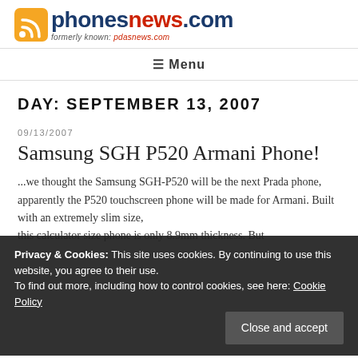[Figure (logo): phonesnews.com logo with RSS icon, formerly known as pdasnews.com]
≡ Menu
DAY: SEPTEMBER 13, 2007
09/13/2007
Samsung SGH P520 Armani Phone!
Privacy & Cookies: This site uses cookies. By continuing to use this website, you agree to their use.
To find out more, including how to control cookies, see here: Cookie Policy
...we thought the Samsung SGH-P520 will be the next Prada phone, apparently the P520 touchscreen phone will be made for Armani. Built with an extremely slim size, this calculator size phone is only 8.9mm thickness. But